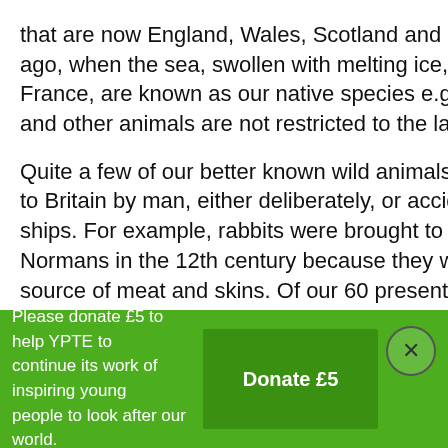that are now England, Wales, Scotland and Ireland. Those ago, when the sea, swollen with melting ice, swept throug France, are known as our native species e.g. red squirrel, and other animals are not restricted to the land, are know
Quite a few of our better known wild animals were introd to Britain by man, either deliberately, or accidentally in ca ships. For example, rabbits were brought to Britain by the Normans in the 12th century because they were a useful source of meat and skins. Of our 60 present-day species mammals, 18 have been introduced.
Many of our largest mammals, fish and birds of prey wer hunted to extinction or died out as their habitats were de
Please donate £5 to help YPTE to continue its work of inspiring young people to look after our world.
Donate £5